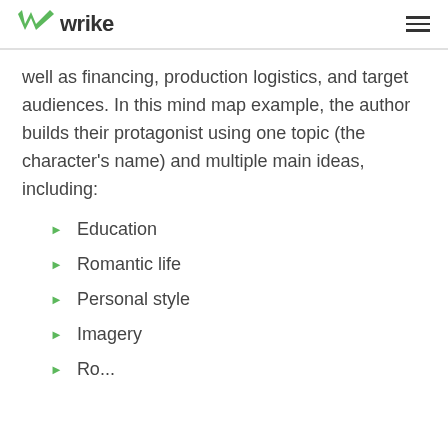wrike
well as financing, production logistics, and target audiences. In this mind map example, the author builds their protagonist using one topic (the character's name) and multiple main ideas, including:
Education
Romantic life
Personal style
Imagery
Ro...